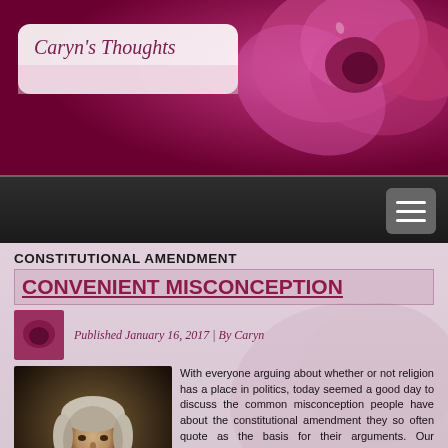[Figure (illustration): Blog header banner with dark pink/magenta rose photograph in background]
Caryn's Thoughts
[Figure (illustration): Dark navigation bar with hamburger menu icon on right]
CONSTITUTIONAL AMENDMENT
CONVENIENT MISCONCEPTION
Published January 16, 2017 | By Caryn
[Figure (photo): Portrait painting of a founding father (Thomas Jefferson) in dark formal attire against a dark background]
With everyone arguing about whether or not religion has a place in politics, today seemed a good day to discuss the common misconception people have about the constitutional amendment they so often quote as the basis for their arguments. Our founding fathers came to this country, largely because in England they were forced to attend the Church of England…by law. Whether they agreed or not, or even whether the church was teaching correctly or not, was completely